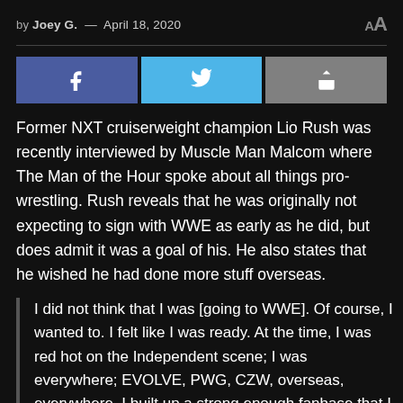by Joey G.  —  April 18, 2020
[Figure (infographic): Three social sharing buttons: Facebook (blue-purple), Twitter (light blue), and a generic share button (gray) with respective icons.]
Former NXT cruiserweight champion Lio Rush was recently interviewed by Muscle Man Malcom where The Man of the Hour spoke about all things pro-wrestling. Rush reveals that he was originally not expecting to sign with WWE as early as he did, but does admit it was a goal of his. He also states that he wished he had done more stuff overseas.
I did not think that I was [going to WWE]. Of course, I wanted to. I felt like I was ready. At the time, I was red hot on the Independent scene; I was everywhere; EVOLVE, PWG, CZW, overseas, everywhere. I built up a strong enough fanbase that I felt confident that if I were to get signed, I would take all of those people with me. But no, I